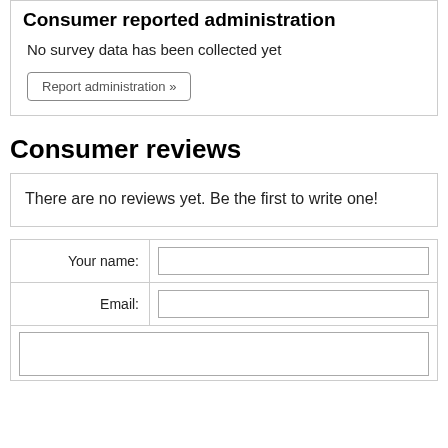Consumer reported administration
No survey data has been collected yet
Report administration »
Consumer reviews
There are no reviews yet. Be the first to write one!
| Label | Input |
| --- | --- |
| Your name: |  |
| Email: |  |
|  |  |